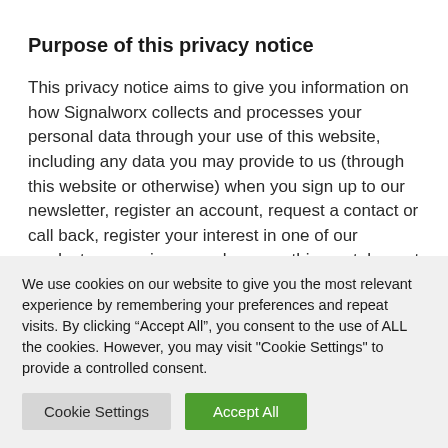Purpose of this privacy notice
This privacy notice aims to give you information on how Signalworx collects and processes your personal data through your use of this website, including any data you may provide to us (through this website or otherwise) when you sign up to our newsletter, register an account, request a contact or call back, register your interest in one of our products or services, purchase anything or take part in a
We use cookies on our website to give you the most relevant experience by remembering your preferences and repeat visits. By clicking “Accept All”, you consent to the use of ALL the cookies. However, you may visit "Cookie Settings" to provide a controlled consent.